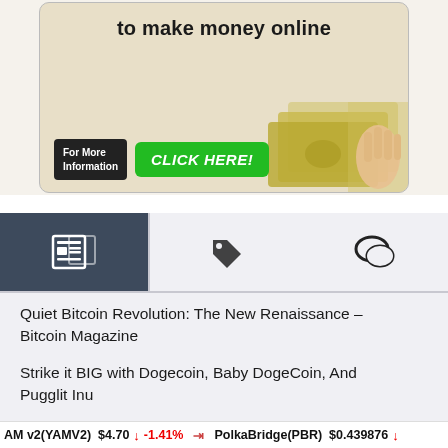[Figure (photo): Advertisement banner showing 'to make money online' with a 'For More Information / CLICK HERE!' button and money imagery]
[Figure (infographic): Tab navigation bar with three icons: newspaper/feed icon (active, dark background), price tag icon, and chat bubble icon]
Quiet Bitcoin Revolution: The New Renaissance – Bitcoin Magazine
Strike it BIG with Dogecoin, Baby DogeCoin, And Pugglit Inu
Web3's Promise of NFT Intellectual Property Rights 'Far Off,' Says Galaxy
Shiba Inu Slips To 13th Position Following Market
AM v2(YAMV2) $4.70 ↓ -1.41% ➤ PolkaBridge(PBR) $0.439876 ↓